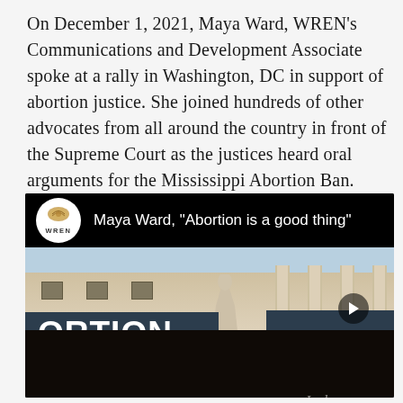On December 1, 2021, Maya Ward, WREN's Communications and Development Associate spoke at a rally in Washington, DC in support of abortion justice. She joined hundreds of other advocates from all around the country in front of the Supreme Court as the justices heard oral arguments for the Mississippi Abortion Ban.
[Figure (screenshot): Video thumbnail showing Maya Ward's speech 'Abortion is a good thing' at a rally in Washington DC, with protesters holding banners reading 'ABORTION ESSENTIAL' and '#AbortionIsEssential' from the Center for Reproductive Rights, with the Supreme Court building in the background.]